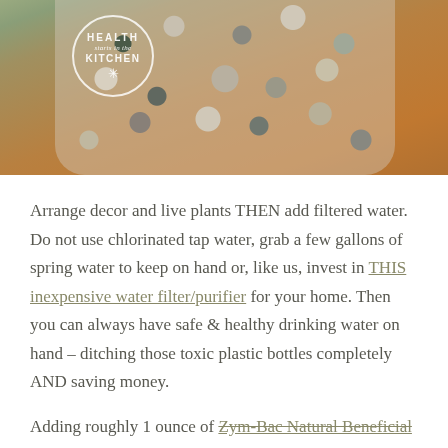[Figure (photo): Photo of a glass jar filled with decorative pebbles and river stones in various colors (grey, brown, green, white), sitting on a wooden surface. A circular logo watermark in the top-left reads 'HEALTH starts in the KITCHEN' with a snowflake-like decorative element.]
Arrange decor and live plants THEN add filtered water. Do not use chlorinated tap water, grab a few gallons of spring water to keep on hand or, like us, invest in THIS inexpensive water filter/purifier for your home. Then you can always have safe & healthy drinking water on hand – ditching those toxic plastic bottles completely AND saving money.
Adding roughly 1 ounce of Zym-Bac Natural Beneficial Live Bacteria helps to kick start the establishment of